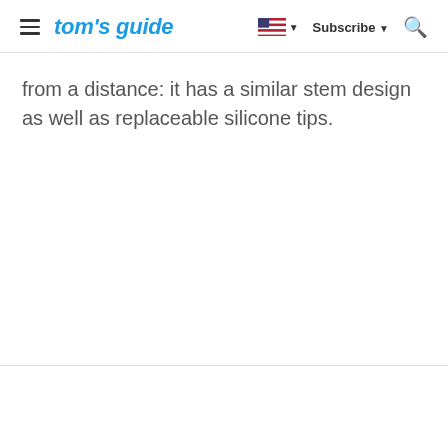tom's guide — Subscribe
from a distance: it has a similar stem design as well as replaceable silicone tips.